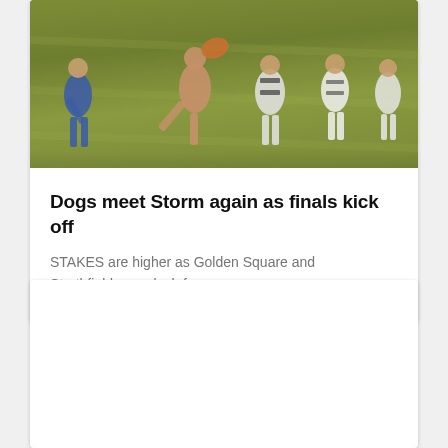[Figure (photo): Australian rules football match action photo showing multiple players on a green grass field. Players wearing black and white striped jerseys and blue and yellow jerseys competing for the ball.]
Dogs meet Storm again as finals kick off
STAKES are higher as Golden Square and Strathfieldsaye clash for...